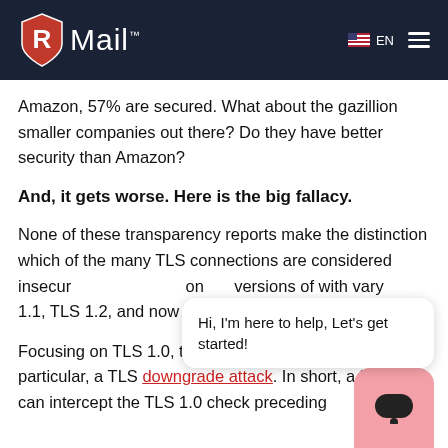RMail
Amazon, 57% are secured. What about the gazillion smaller companies out there? Do they have better security than Amazon?
And, it gets worse. Here is the big fallacy.
None of these transparency reports make the distinction which of the many TLS connections are considered insecure. TLS connections in versions of with vary 1.1, TLS 1.2, and now TLS 1.3.
Focusing on TLS 1.0, there are known risks. In particular, a TLS downgrade attack. In short, a hacker can intercept the TLS 1.0 check preceding